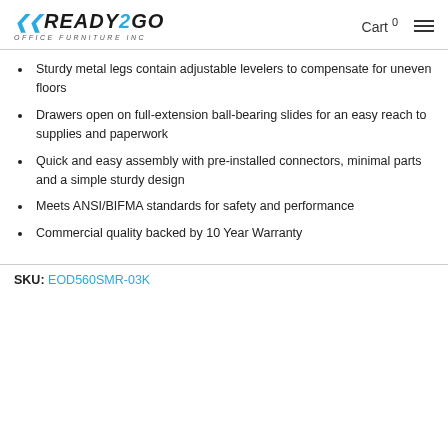READY2GO OFFICE FURNITURE INC — Cart 0
Sturdy metal legs contain adjustable levelers to compensate for uneven floors
Drawers open on full-extension ball-bearing slides for an easy reach to supplies and paperwork
Quick and easy assembly with pre-installed connectors, minimal parts and a simple sturdy design
Meets ANSI/BIFMA standards for safety and performance
Commercial quality backed by 10 Year Warranty
SKU: EOD560SMR-03K